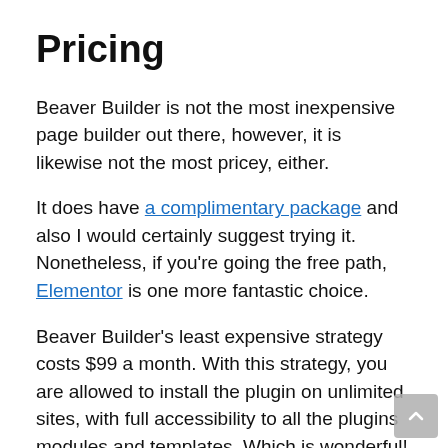Pricing
Beaver Builder is not the most inexpensive page builder out there, however, it is likewise not the most pricey, either.
It does have a complimentary package and also I would certainly suggest trying it. Nonetheless, if you’re going the free path, Elementor is one more fantastic choice.
Beaver Builder’s least expensive strategy costs $99 a month. With this strategy, you are allowed to install the plugin on unlimited sites, with full accessibility to all the plugins modules and templates. Which is wonderful!